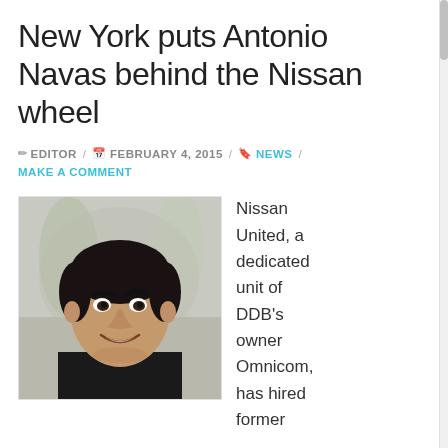New York puts Antonio Navas behind the Nissan wheel
✏ EDITOR / 📅 FEBRUARY 4, 2015 / 🔖 NEWS / MAKE A COMMENT
[Figure (photo): Headshot of Antonio Navas, a man with dark hair smiling, wearing a black jacket, photographed outdoors with a blurred background.]
Nissan United, a dedicated unit of DDB's owner Omnicom, has hired former